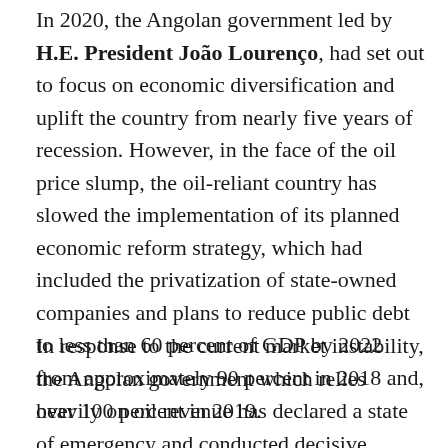In 2020, the Angolan government led by H.E. President João Lourenço, had set out to focus on economic diversification and uplift the country from nearly five years of recession. However, in the face of the oil price slump, the oil-reliant country has slowed the implementation of its planned economic reform strategy, which had included the privatization of state-owned companies and plans to reduce public debt to less than 60 percent of GDP by 2022 from approximately 90 percent in 2018 and, over 100 percent in 2019.
In response to the current market instability, the Angolan government which relies heavily on oil revenue has declared a state of emergency and conducted decisive measures in a misled but...